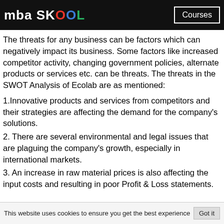mba SKOOL | Courses
The threats for any business can be factors which can negatively impact its business. Some factors like increased competitor activity, changing government policies, alternate products or services etc. can be threats. The threats in the SWOT Analysis of Ecolab are as mentioned:
1.Innovative products and services from competitors and their strategies are affecting the demand for the company’s solutions.
2. There are several environmental and legal issues that are plaguing the company’s growth, especially in international markets.
3. An increase in raw material prices is also affecting the input costs and resulting in poor Profit & Loss statements.
This website uses cookies to ensure you get the best experience